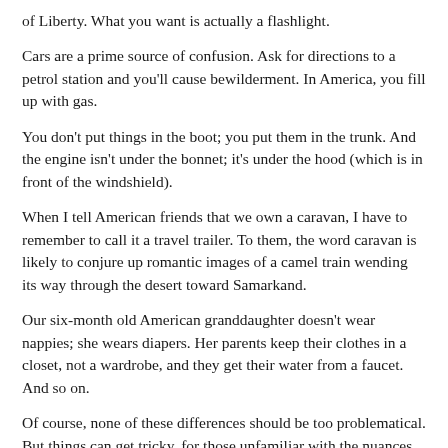of Liberty. What you want is actually a flashlight.
Cars are a prime source of confusion. Ask for directions to a petrol station and you'll cause bewilderment. In America, you fill up with gas.
You don't put things in the boot; you put them in the trunk. And the engine isn't under the bonnet; it's under the hood (which is in front of the windshield).
When I tell American friends that we own a caravan, I have to remember to call it a travel trailer. To them, the word caravan is likely to conjure up romantic images of a camel train wending its way through the desert toward Samarkand.
Our six-month old American granddaughter doesn't wear nappies; she wears diapers. Her parents keep their clothes in a closet, not a wardrobe, and they get their water from a faucet. And so on.
Of course, none of these differences should be too problematical. But things can get tricky, for those unfamiliar with the nuances of American English, when someone says...